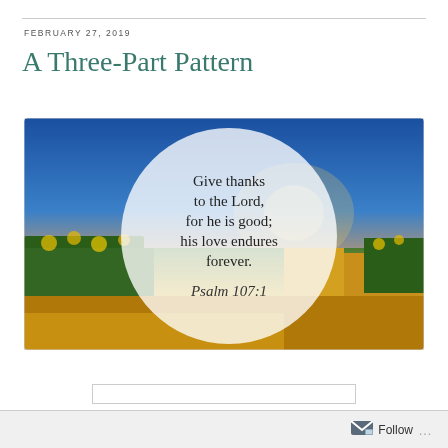FEBRUARY 27, 2019
A Three-Part Pattern
[Figure (photo): Landscape photo of sunflower fields under a dramatic blue and orange sky at sunset/sunrise, with a large semi-transparent white circle overlay containing handwritten-style text reading: 'Give thanks to the Lord, for he is good; his love endures forever. Psalm 107:1']
Follow